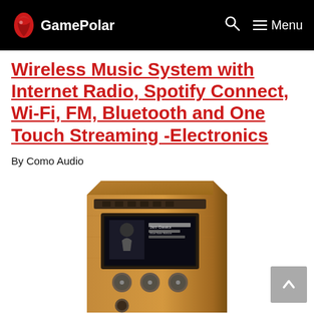GamePolar
Wireless Music System with Internet Radio, Spotify Connect, Wi-Fi, FM, Bluetooth and One Touch Streaming -Electronics
By Como Audio
[Figure (photo): A wooden tabletop wireless music system/speaker with a digital display showing 'Jazz Classics Blue Note Edition' and control knobs on the front panel.]